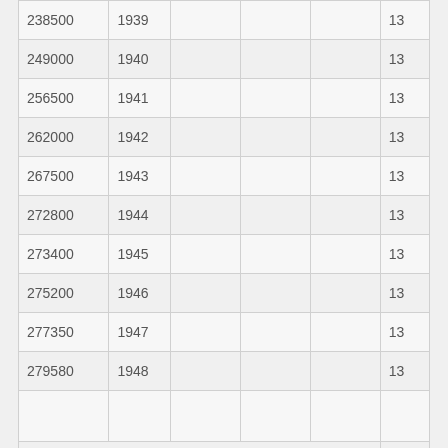| 238500 | 1939 |  |  |  | 13 |
| 249000 | 1940 |  |  |  | 13 |
| 256500 | 1941 |  |  |  | 13 |
| 262000 | 1942 |  |  |  | 13 |
| 267500 | 1943 |  |  |  | 13 |
| 272800 | 1944 |  |  |  | 13 |
| 273400 | 1945 |  |  |  | 13 |
| 275200 | 1946 |  |  |  | 13 |
| 277350 | 1947 |  |  |  | 13 |
| 279580 | 1948 |  |  |  | 13 |
|  |  |  |  |  |  |
| Model 14 |  |  |  |  |  |